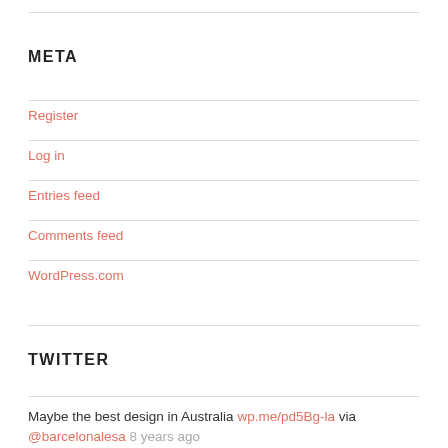META
Register
Log in
Entries feed
Comments feed
WordPress.com
TWITTER
Maybe the best design in Australia wp.me/pd5Bg-la via @barcelonalesa 8 years ago